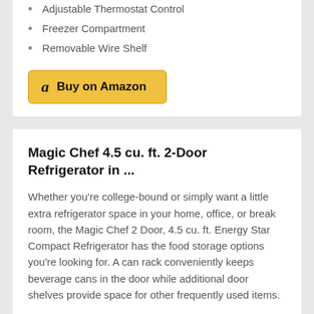Adjustable Thermostat Control
Freezer Compartment
Removable Wire Shelf
[Figure (other): Buy on Amazon button with Amazon logo]
Magic Chef 4.5 cu. ft. 2-Door Refrigerator in ...
Whether you're college-bound or simply want a little extra refrigerator space in your home, office, or break room, the Magic Chef 2 Door, 4.5 cu. ft. Energy Star Compact Refrigerator has the food storage options you're looking for. A can rack conveniently keeps beverage cans in the door while additional door shelves provide space for other frequently used items.